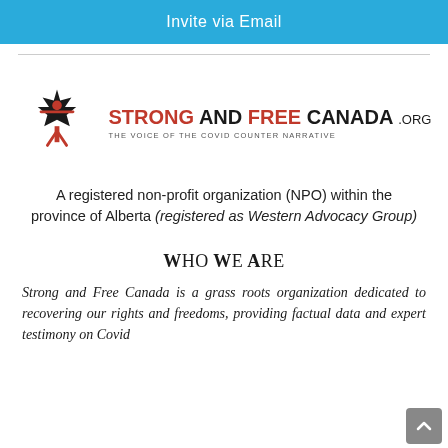Invite via Email
[Figure (logo): Strong and Free Canada .org logo with maple leaf and figure icon, tagline: THE VOICE OF THE COVID COUNTER NARRATIVE]
A registered non-profit organization (NPO) within the province of Alberta (registered as Western Advocacy Group)
Who We Are
Strong and Free Canada is a grass roots organization dedicated to recovering our rights and freedoms, providing factual data and expert testimony on Covid